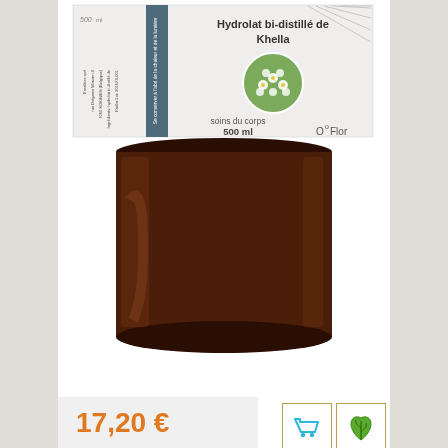[Figure (photo): Brown bottle with white label showing 'Hydrolat bi-distillé de Khella', soins du corps 500ml, O'Flor branding, with circular flower image on label]
17,20 €
[Figure (illustration): Shopping cart icon in a bordered box]
[Figure (illustration): Green leaf/eco icon in a bordered box]
Laurier Noble - Hydrolat...
[Figure (photo): Dark amber bottle with white cap on blue background]